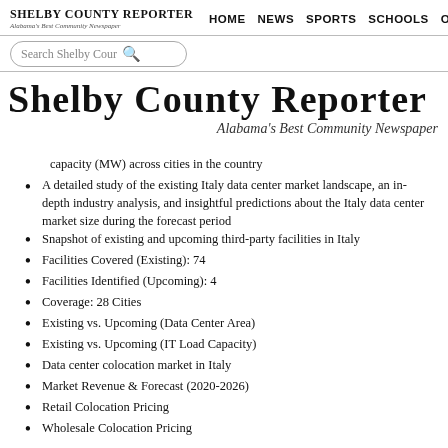Shelby County Reporter – Alabama's Best Community Newspaper | HOME NEWS SPORTS SCHOOLS OPI
capacity (MW) across cities in the country
A detailed study of the existing Italy data center market landscape, an in-depth industry analysis, and insightful predictions about the Italy data center market size during the forecast period
Snapshot of existing and upcoming third-party facilities in Italy
Facilities Covered (Existing): 74
Facilities Identified (Upcoming): 4
Coverage: 28 Cities
Existing vs. Upcoming (Data Center Area)
Existing vs. Upcoming (IT Load Capacity)
Data center colocation market in Italy
Market Revenue & Forecast (2020-2026)
Retail Colocation Pricing
Wholesale Colocation Pricing